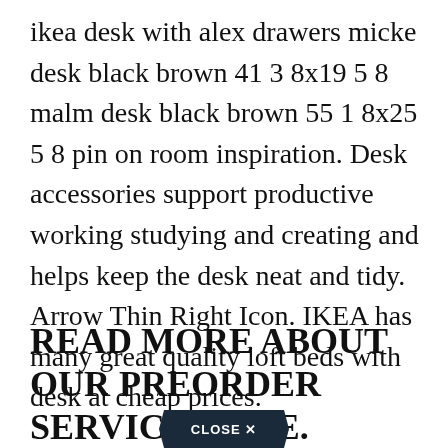ikea desk with alex drawers micke desk black brown 41 3 8x19 5 8 malm desk black brown 55 1 8x25 5 8 pin on room inspiration. Desk accessories support productive working studying and creating and helps keep the desk neat and tidy. Arrow Thin Right Icon. IKEA has many great quality loft beds with desk at cheap prices.
READ MORE ABOUT OUR PREORDER SERVICE HERE.
[Figure (other): A dark pentagon/chevron shaped button with white text reading 'CLOSE X']